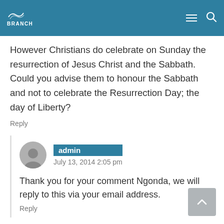BRANCH
However Christians do celebrate on Sunday the resurrection of Jesus Christ and the Sabbath. Could you advise them to honour the Sabbath and not to celebrate the Resurrection Day; the day of Liberty?
Reply
admin — July 13, 2014 2:05 pm
Thank you for your comment Ngonda, we will reply to this via your email address.
Reply
borongkiosy — July 29, 2014 4:38 am